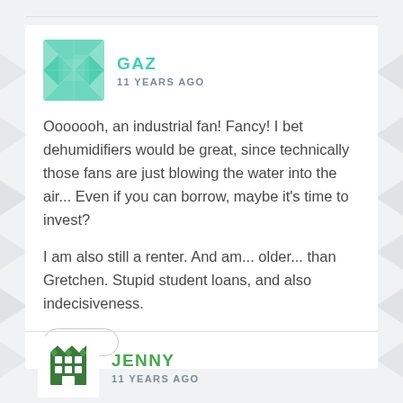[Figure (illustration): Avatar for user GAZ: teal/green geometric quilt-pattern square avatar]
GAZ
11 YEARS AGO
Ooooooh, an industrial fan! Fancy! I bet dehumidifiers would be great, since technically those fans are just blowing the water into the air... Even if you can borrow, maybe it's time to invest?
I am also still a renter. And am... older... than Gretchen. Stupid student loans, and also indecisiveness.
Reply
[Figure (illustration): Avatar for user JENNY: dark green building/house icon avatar]
JENNY
11 YEARS AGO